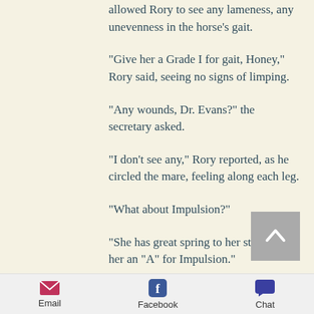allowed Rory to see any lameness, any unevenness in the horse’s gait.
“Give her a Grade I for gait, Honey,” Rory said, seeing no signs of limping.
“Any wounds, Dr. Evans?” the secretary asked.
“I don’t see any,” Rory reported, as he circled the mare, feeling along each leg.
“What about Impulsion?”
“She has great spring to her step. Give her an “A” for Impulsion.”
[Figure (other): Scroll-to-top button, grey square with white upward chevron arrow]
Email  Facebook  Chat